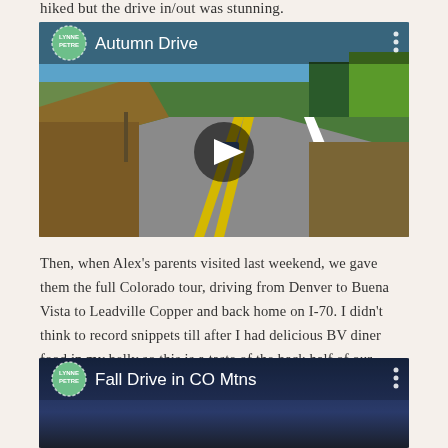hiked but the drive in/out was stunning.
[Figure (screenshot): Video thumbnail for 'Autumn Drive' showing a mountain road in autumn with blue sky. Lynne Petre avatar in green circle top left, three dots menu top right, play button in center.]
Then, when Alex's parents visited last weekend, we gave them the full Colorado tour, driving from Denver to Buena Vista to Leadville Copper and back home on I-70. I didn't think to record snippets till after I had delicious BV diner food in my belly so this is a taste of the back half of our drive.
[Figure (screenshot): Video thumbnail for 'Fall Drive in CO Mtns' showing a dark blue gradient background with Lynne Petre avatar in green circle top left, three dots menu top right.]